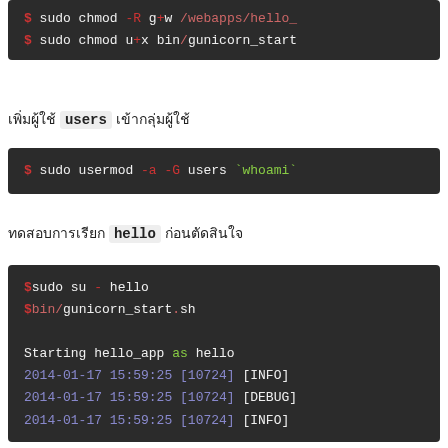[Figure (screenshot): Terminal code block showing: $ sudo chmod -R g+w /webapps/hello_ and $ sudo chmod u+x bin/gunicorn_start]
เพิ่มผู้ใช้ users เข้ากลุ่มผู้ใช้
[Figure (screenshot): Terminal code block showing: $ sudo usermod -a -G users `whoami`]
ทดสอบการเรียก hello ก่อนตัดสินใจ
[Figure (screenshot): Terminal code block showing: $sudo su - hello, $bin/gunicorn_start.sh, Starting hello_app as hello, 2014-01-17 15:59:25 [10724] [INFO], 2014-01-17 15:59:25 [10724] [DEBUG], 2014-01-17 15:59:25 [10724] [INFO]]